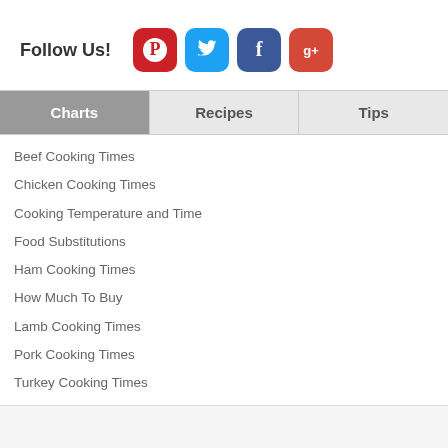Follow Us!
[Figure (logo): Pinterest social media icon (red rounded square with P)]
[Figure (logo): Twitter social media icon (blue rounded square with bird)]
[Figure (logo): Facebook social media icon (blue rounded square with f)]
[Figure (logo): Google+ social media icon (red rounded square with g+)]
Charts
Recipes
Tips
Beef Cooking Times
Chicken Cooking Times
Cooking Temperature and Time
Food Substitutions
Ham Cooking Times
How Much To Buy
Lamb Cooking Times
Pork Cooking Times
Turkey Cooking Times